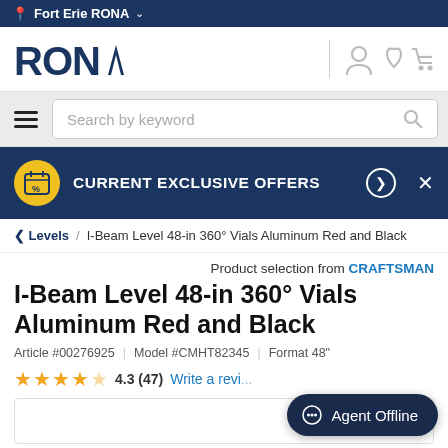Fort Erie RONA
[Figure (logo): RONA logo with stylized A, user icon, heart icon, cart icon]
Search by keyword
CURRENT EXCLUSIVE OFFERS
< Levels / I-Beam Level 48-in 360° Vials Aluminum Red and Black
Product selection from CRAFTSMAN
I-Beam Level 48-in 360° Vials Aluminum Red and Black
Article #00276925 | Model #CMHT82345 | Format 48"
4.3 (47) Write a revi...
Agent Offline